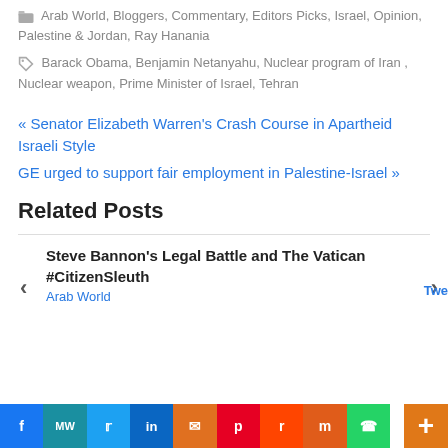Arab World, Bloggers, Commentary, Editors Picks, Israel, Opinion, Palestine & Jordan, Ray Hanania
Barack Obama, Benjamin Netanyahu, Nuclear program of Iran, Nuclear weapon, Prime Minister of Israel, Tehran
« Senator Elizabeth Warren's Crash Course in Apartheid Israeli Style
GE urged to support fair employment in Palestine-Israel »
Related Posts
Steve Bannon's Legal Battle and The Vatican #CitizenSleuth
Arab World